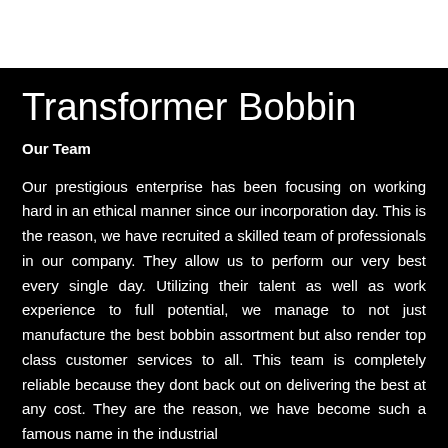Transformer Bobbin
Our Team
Our prestigious enterprise has been focusing on working hard in an ethical manner since our incorporation day. This is the reason, we have recruited a skilled team of professionals in our company. They allow us to perform our very best every single day. Utilizing their talent as well as work experience to full potential, we manage to not just manufacture the best bobbin assortment but also render top class customer services to all. This team is completely reliable because they dont back out on delivering the best at any cost. They are the reason, we have become such a famous name in the industrial